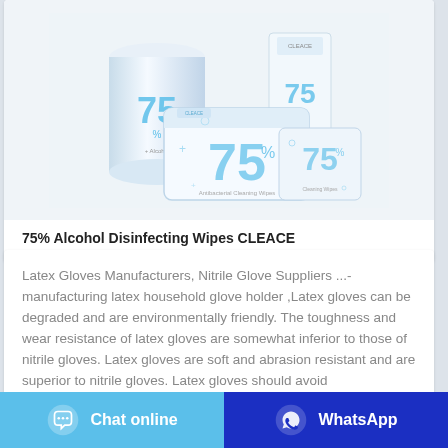[Figure (photo): Product photo showing 75% Alcohol Disinfecting Wipes CLEACE packages in various sizes — large cylindrical container, flat packs, small individual packets with blue '75%' branding on white background]
75% Alcohol Disinfecting Wipes CLEACE
Latex Gloves Manufacturers, Nitrile Glove Suppliers ...- manufacturing latex household glove holder ,Latex gloves can be degraded and are environmentally friendly. The toughness and wear resistance of latex gloves are somewhat inferior to those of nitrile gloves. Latex gloves are soft and abrasion resistant and are superior to nitrile gloves. Latex gloves should avoid